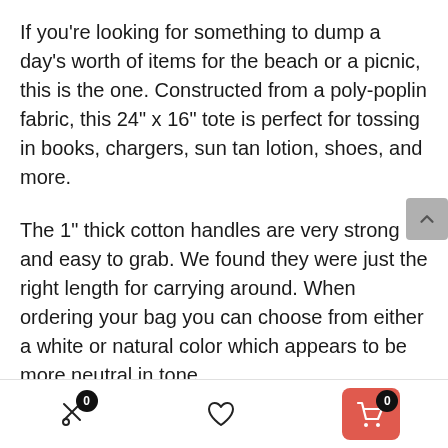If you're looking for something to dump a day's worth of items for the beach or a picnic, this is the one. Constructed from a poly-poplin fabric, this 24" x 16" tote is perfect for tossing in books, chargers, sun tan lotion, shoes, and more.
The 1" thick cotton handles are very strong and easy to grab. We found they were just the right length for carrying around. When ordering your bag you can choose from either a white or natural color which appears to be more neutral in tone.
Carry-All Pouch